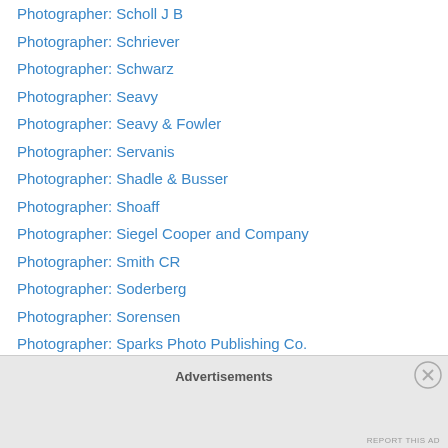Photographer: Scholl J B
Photographer: Schriever
Photographer: Schwarz
Photographer: Seavy
Photographer: Seavy & Fowler
Photographer: Servanis
Photographer: Shadle & Busser
Photographer: Shoaff
Photographer: Siegel Cooper and Company
Photographer: Smith CR
Photographer: Soderberg
Photographer: Sorensen
Photographer: Sparks Photo Publishing Co.
Photographer: Squyer
Photographer: Stahlberg
Photographer: Stebbing
Advertisements